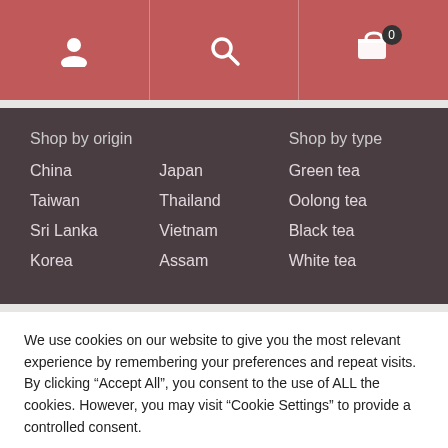Navigation header with user icon, search icon, and cart icon showing 0 items
Shop by origin
China
Japan
Taiwan
Thailand
Sri Lanka
Vietnam
Korea
Assam
Shop by type
Green tea
Oolong tea
Black tea
White tea
We use cookies on our website to give you the most relevant experience by remembering your preferences and repeat visits. By clicking “Accept All”, you consent to the use of ALL the cookies. However, you may visit "Cookie Settings" to provide a controlled consent.
Cookie Settings | Accept All